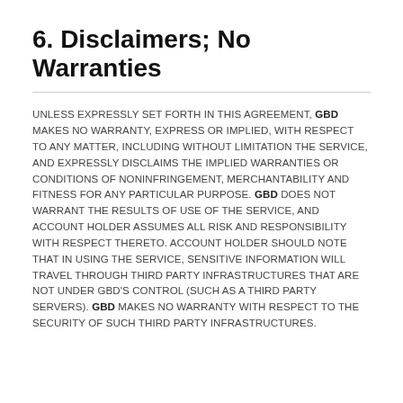6. Disclaimers; No Warranties
UNLESS EXPRESSLY SET FORTH IN THIS AGREEMENT, GBD MAKES NO WARRANTY, EXPRESS OR IMPLIED, WITH RESPECT TO ANY MATTER, INCLUDING WITHOUT LIMITATION THE SERVICE, AND EXPRESSLY DISCLAIMS THE IMPLIED WARRANTIES OR CONDITIONS OF NONINFRINGEMENT, MERCHANTABILITY AND FITNESS FOR ANY PARTICULAR PURPOSE. GBD DOES NOT WARRANT THE RESULTS OF USE OF THE SERVICE, AND ACCOUNT HOLDER ASSUMES ALL RISK AND RESPONSIBILITY WITH RESPECT THERETO. ACCOUNT HOLDER SHOULD NOTE THAT IN USING THE SERVICE, SENSITIVE INFORMATION WILL TRAVEL THROUGH THIRD PARTY INFRASTRUCTURES THAT ARE NOT UNDER GBD'S CONTROL (SUCH AS A THIRD PARTY SERVERS). GBD MAKES NO WARRANTY WITH RESPECT TO THE SECURITY OF SUCH THIRD PARTY INFRASTRUCTURES.